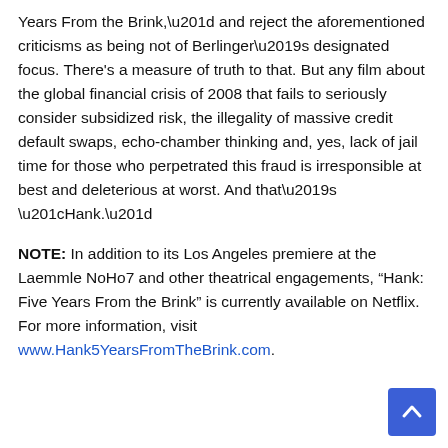Years From the Brink,” and reject the aforementioned criticisms as being not of Berlinger’s designated focus. There’s a measure of truth to that. But any film about the global financial crisis of 2008 that fails to seriously consider subsidized risk, the illegality of massive credit default swaps, echo-chamber thinking and, yes, lack of jail time for those who perpetrated this fraud is irresponsible at best and deleterious at worst. And that’s “Hank.”
NOTE: In addition to its Los Angeles premiere at the Laemmle NoHo7 and other theatrical engagements, “Hank: Five Years From the Brink” is currently available on Netflix. For more information, visit www.Hank5YearsFromTheBrink.com.